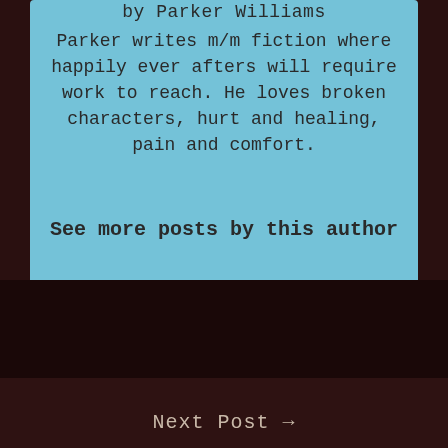by Parker Williams
Parker writes m/m fiction where happily ever afters will require work to reach. He loves broken characters, hurt and healing, pain and comfort.
See more posts by this author
This site uses Akismet to reduce spam. Learn how your comment data is processed.
Next Post →